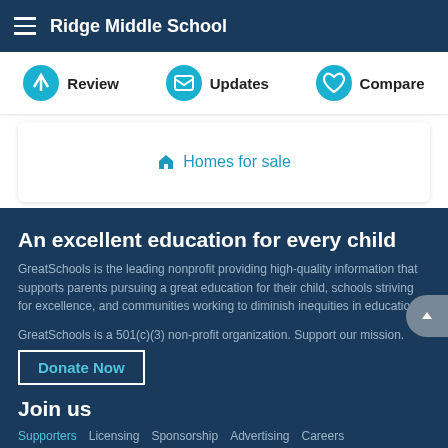Ridge Middle School
Review   Updates   Compare
Homes for sale
An excellent education for every child
GreatSchools is the leading nonprofit providing high-quality information that supports parents pursuing a great education for their child, schools striving for excellence, and communities working to diminish inequities in education.
GreatSchools is a 501(c)(3) non-profit organization. Support our mission.
Donate Now
Join us
Supporters   Licensing   Sponsorship   Advertising   Careers